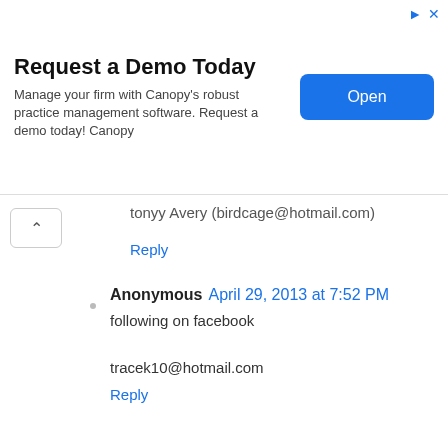[Figure (screenshot): Advertisement banner for Canopy practice management software with 'Request a Demo Today' heading, description text, and blue 'Open' button]
tonyy Avery (birdcage@hotmail.com)
Reply
Anonymous  April 29, 2013 at 7:52 PM
following on facebook

tracek10@hotmail.com
Reply
Anonymous  April 30, 2013 at 3:00 PM
I follow you on Facebook & subscribe to your newsletters. :)

Mandy A